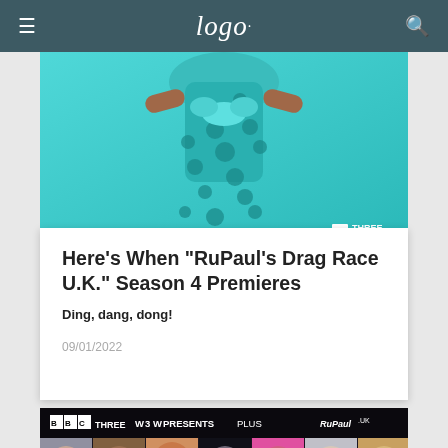Logo.
[Figure (photo): Partial photo of a person wearing a teal/turquoise polka-dot outfit against a teal background, showing body from shoulders down. WSW Presents logo bottom left, BBC THREE logo bottom right.]
Here's When "RuPaul's Drag Race U.K." Season 4 Premieres
Ding, dang, dong!
09/01/2022
[Figure (photo): Promotional image showing 7 contestants in a horizontal strip with BBC THREE and WOW PRESENTS PLUS and RuPaul's Drag Race UK branding at top.]